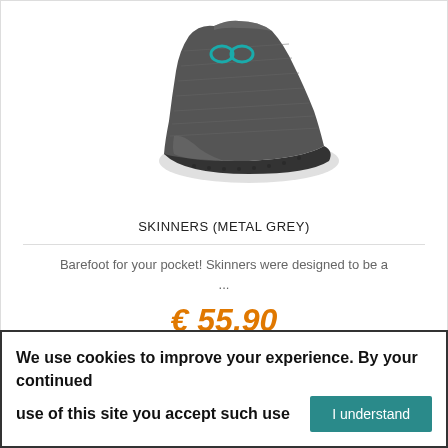[Figure (photo): A dark grey knit sock shoe (Skinners Metal Grey) shown from the side, with a teal/cyan logo on the top, sitting against a white background. The sock has a textured rubber-like sole.]
SKINNERS (METAL GREY)
Barefoot for your pocket! Skinners were designed to be a ...
€ 55.90
We use cookies to improve your experience. By your continued use of this site you accept such use